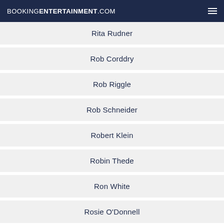BOOKINGENTERTAINMENT.COM
Rita Rudner
Rob Corddry
Rob Riggle
Rob Schneider
Robert Klein
Robin Thede
Ron White
Rosie O'Donnell
Roy Wood Jr.